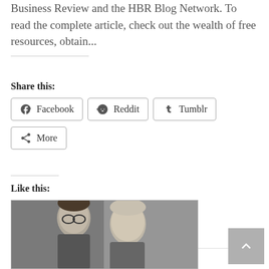Business Review and the HBR Blog Network. To read the complete article, check out the wealth of free resources, obtain...
Share this:
Facebook   Reddit   Tumblr   More
Like this:
Loading...
Read More
[Figure (photo): Black and white photograph of two people, a man with glasses and a woman, in front of a curtain background]